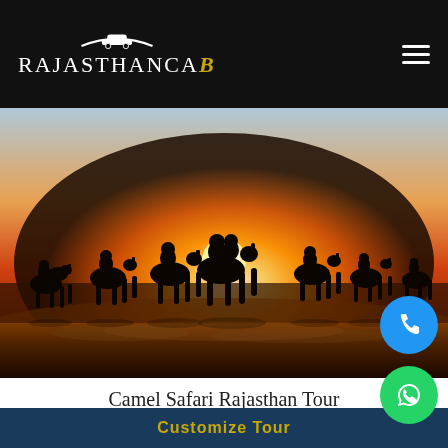[Figure (logo): RajasthanCaB logo with white text and gold B on black background, with arc/car silhouette above]
[Figure (photo): Silhouette of multiple camels with riders walking along a wet beach at sunset with a bright orange sun on the horizon]
Camel Safari Rajasthan Tour
Duration: 15 Nights 16 Days
Destination: Delhi Mandawa Bik…
Customize Tour